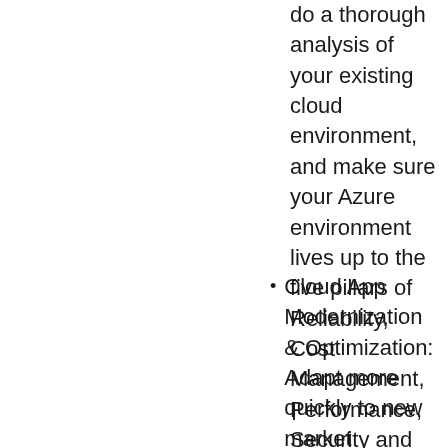do a thorough analysis of your existing cloud environment, and make sure your Azure environment lives up to the five pillars of Reliability, Cost Management, Performance, Security and Compliance.
Cloud App Modernization & Optimization: Adapt more quickly to new market demands, and take advantage of